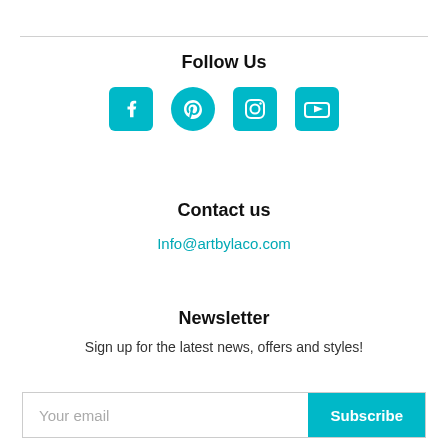Follow Us
[Figure (infographic): Four social media icons in teal: Facebook, Pinterest, Instagram, YouTube]
Contact us
Info@artbylaco.com
Newsletter
Sign up for the latest news, offers and styles!
Your email | Subscribe